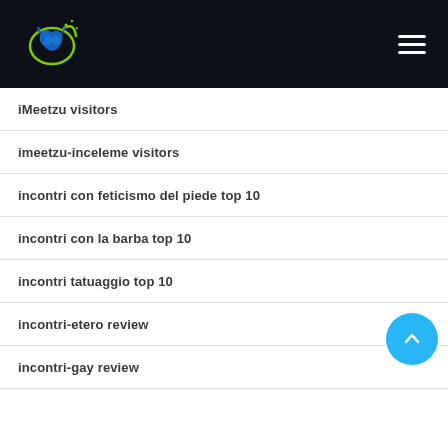iMeetzu visitors
imeetzu-inceleme visitors
incontri con feticismo del piede top 10
incontri con la barba top 10
incontri tatuaggio top 10
incontri-etero review
incontri-gay review